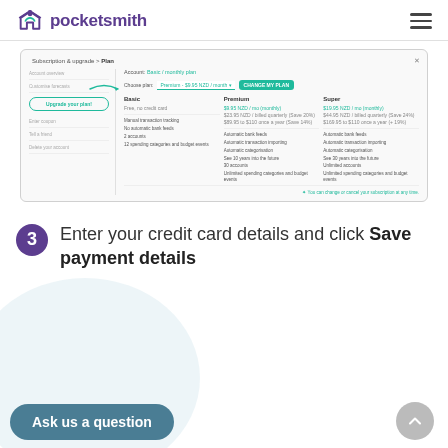pocketsmith
[Figure (screenshot): PocketSmith subscription upgrade page showing plan selection with Basic, Premium and Super tiers. Arrow pointing to 'Choose plan' dropdown set to Premium - $9.95 NZD / month with a 'CHANGE MY PLAN' button. Left sidebar shows navigation items including 'Upgrade your plan!' highlighted. Plan comparison shows pricing and features for Basic, Premium, and Super plans.]
3 Enter your credit card details and click Save payment details
Ask us a question